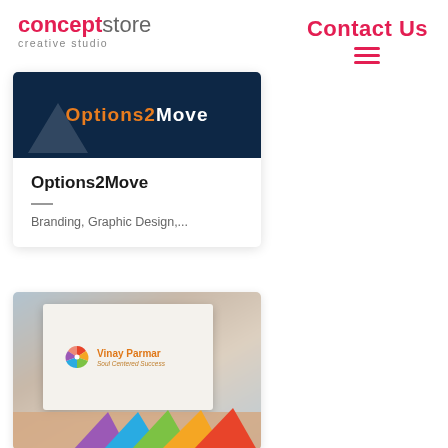[Figure (logo): conceptstore creative studio logo — 'concept' in bold red/pink, 'store' in grey, subtitle 'creative studio' in light grey]
Contact Us
[Figure (other): Hamburger menu icon (three horizontal red lines)]
[Figure (screenshot): Options2Move card — dark navy background with orange and white 'Options2Move' text logo]
Options2Move
Branding, Graphic Design,...
[Figure (photo): Photo of a hand holding a business card for 'Vinay Parmar — Soul Centered Success' with a colorful pinwheel logo. Background is blurred.]